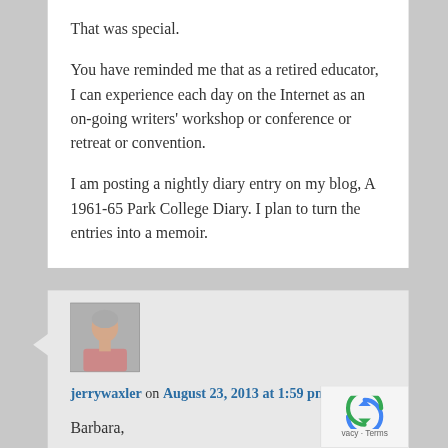That was special.
You have reminded me that as a retired educator, I can experience each day on the Internet as an on-going writers' workshop or conference or retreat or convention.
I am posting a nightly diary entry on my blog, A 1961-65 Park College Diary. I plan to turn the entries into a memoir.
[Figure (photo): Avatar photo of jerrywaxler, showing an older man with gray hair]
jerrywaxler on August 23, 2013 at 1:59 pm said:
Barbara,
Thanks for your comment! I love your reminder